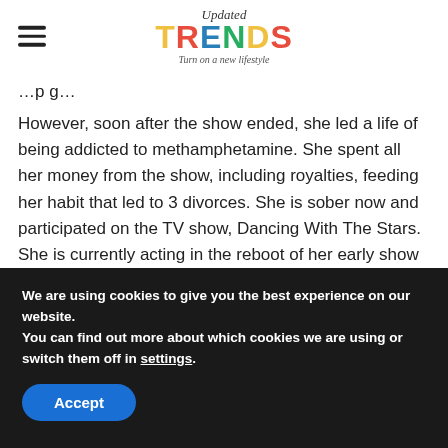Updated TRENDS – Turn on a new lifestyle
…p g…
However, soon after the show ended, she led a life of being addicted to methamphetamine. She spent all her money from the show, including royalties, feeding her habit that led to 3 divorces. She is sober now and participated on the TV show, Dancing With The Stars. She is currently acting in the reboot of her early show – Fuller House.
We are using cookies to give you the best experience on our website.
You can find out more about which cookies we are using or switch them off in settings.
Accept